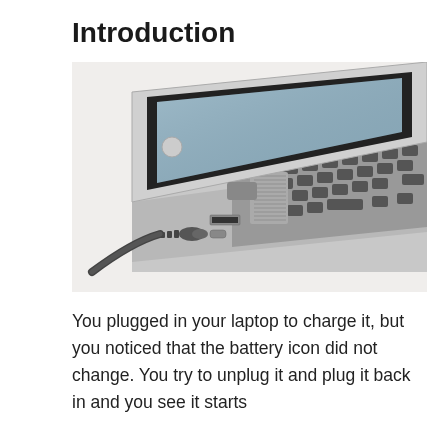Introduction
[Figure (photo): Close-up photo of a laptop computer with a power charging cable plugged into the side port. The laptop is silver/grey, partially open, showing the keyboard and the charging connector being inserted.]
You plugged in your laptop to charge it, but you noticed that the battery icon did not change. You try to unplug it and plug it back in and you see it starts